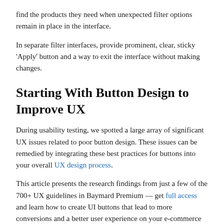find the products they need when unexpected filter options remain in place in the interface.
In separate filter interfaces, provide prominent, clear, sticky 'Apply' button and a way to exit the interface without making changes.
Starting With Button Design to Improve UX
During usability testing, we spotted a large array of significant UX issues related to poor button design. These issues can be remedied by integrating these best practices for buttons into your overall UX design process.
This article presents the research findings from just a few of the 700+ UX guidelines in Baymard Premium — get full access and learn how to create UI buttons that lead to more conversions and a better user experience on your e-commerce site.